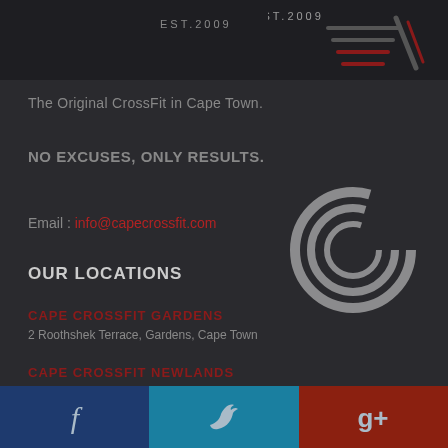[Figure (logo): CrossFit logo with EST.2009 text and red/grey swoosh emblem]
The Original CrossFit in Cape Town.
NO EXCUSES, ONLY RESULTS.
Email : info@capecrossfit.com
[Figure (logo): Cape CrossFit circular C logo watermark]
OUR LOCATIONS
CAPE CROSSFIT GARDENS
2 Roothshek Terrace, Gardens, Cape Town
CAPE CROSSFIT NEWLANDS
44 Main Rd, Newlands, Cape Town
Facebook | Twitter | Google+